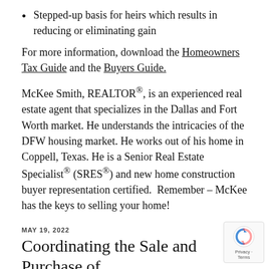Stepped-up basis for heirs which results in reducing or eliminating gain
For more information, download the Homeowners Tax Guide and the Buyers Guide.
McKee Smith, REALTOR®, is an experienced real estate agent that specializes in the Dallas and Fort Worth market. He understands the intricacies of the DFW housing market. He works out of his home in Coppell, Texas. He is a Senior Real Estate Specialist® (SRES®) and new home construction buyer representation certified.  Remember – McKee has the keys to selling your home!
MAY 19, 2022
Coordinating the Sale and Purchase of